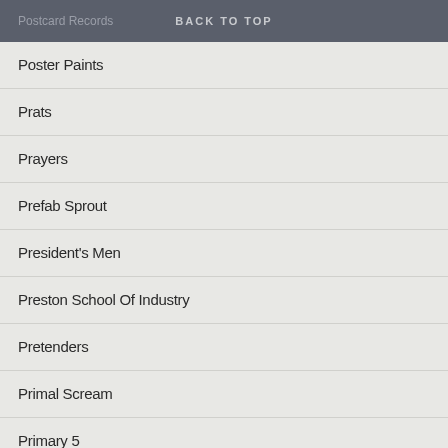Postcard Records | BACK TO TOP
Poster Paints
Prats
Prayers
Prefab Sprout
President's Men
Preston School Of Industry
Pretenders
Primal Scream
Primary 5
Primevals
Primitives
Primus